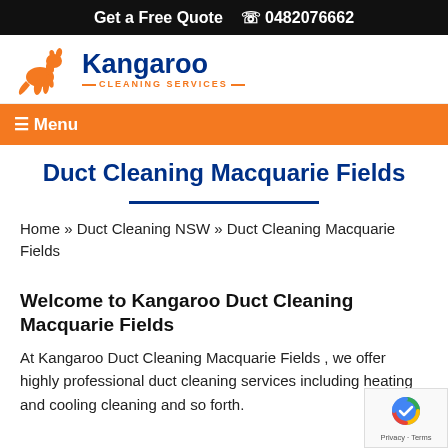Get a Free Quote  📞 0482076662
[Figure (logo): Kangaroo Cleaning Services logo with orange kangaroo silhouette and blue bold text 'Kangaroo' with orange subtitle '— CLEANING SERVICES —']
☰ Menu
Duct Cleaning Macquarie Fields
Home » Duct Cleaning NSW » Duct Cleaning Macquarie Fields
Welcome to Kangaroo Duct Cleaning Macquarie Fields
At Kangaroo Duct Cleaning Macquarie Fields , we offer highly professional duct cleaning services including heating and cooling cleaning and so forth.